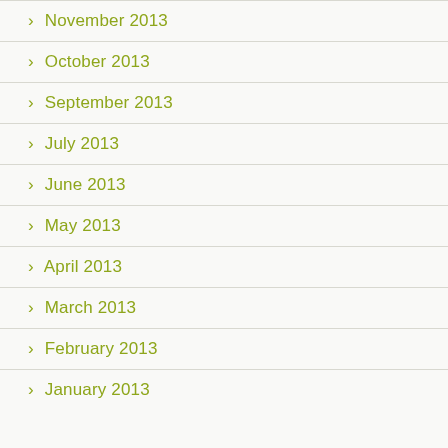November 2013
October 2013
September 2013
July 2013
June 2013
May 2013
April 2013
March 2013
February 2013
January 2013